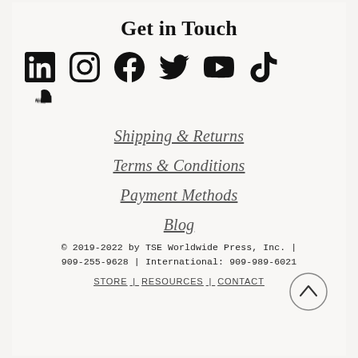Get in Touch
[Figure (illustration): Row of social media icons: LinkedIn, Instagram, Facebook, Twitter, YouTube, TikTok]
[Figure (logo): SoundCloud icon]
Shipping & Returns
Terms & Conditions
Payment Methods
Blog
© 2019-2022 by TSE Worldwide Press, Inc. | 909-255-9628 | International: 909-989-6021
STORE | RESOURCES | CONTACT